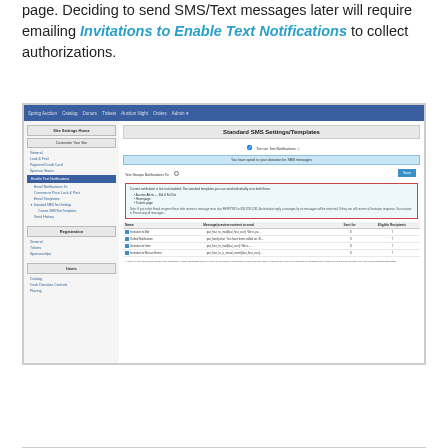page.  Deciding to send SMS/Text messages later will require emailing  Invitations to Enable Text Notifications to collect authorizations.
[Figure (screenshot): Screenshot of a web application showing 'Standard SMS Settings/Templates' page with navigation sidebar on the left listing options including 'Enable Text Notifications', main content area showing SMS settings with toggle, info boxes, a highlighted notice box with red border, and a table listing SMS notification templates including 'Invitation to Bid', 'Outbid Notification', 'Invitation to Item', and 'Invitation to Abused Item' with columns for Name, Message/Preview, Sent For, and Eligible Recipients.]